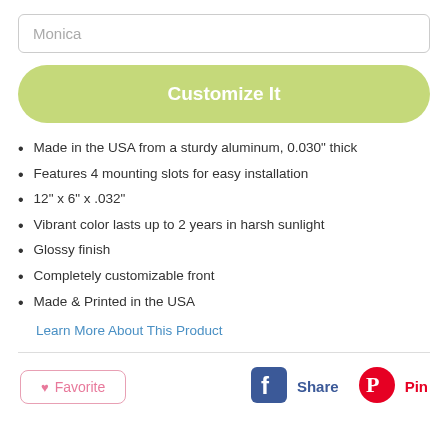Monica
Customize It
Made in the USA from a sturdy aluminum, 0.030" thick
Features 4 mounting slots for easy installation
12" x 6" x .032"
Vibrant color lasts up to 2 years in harsh sunlight
Glossy finish
Completely customizable front
Made & Printed in the USA
Learn More About This Product
Favorite
Share
Pin